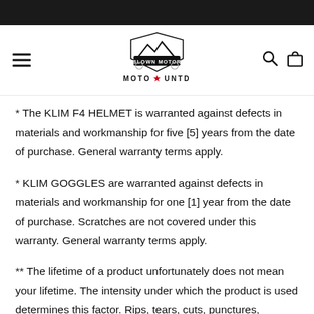[Figure (logo): Blown Motor Moto Untd logo with mountain graphic and banner]
* The KLIM F4 HELMET is warranted against defects in materials and workmanship for five [5] years from the date of purchase. General warranty terms apply.
* KLIM GOGGLES are warranted against defects in materials and workmanship for one [1] year from the date of purchase. Scratches are not covered under this warranty. General warranty terms apply.
** The lifetime of a product unfortunately does not mean your lifetime. The intensity under which the product is used determines this factor. Rips, tears, cuts, punctures,